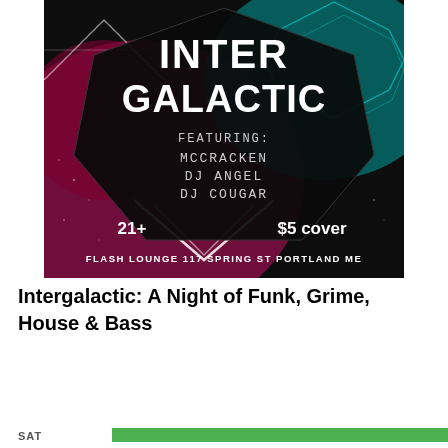[Figure (illustration): Event flyer for Intergalactic night at Flash Lounge. Dark hexagon shape with futuristic font reading INTER GALACTIC. Features: MCCRACKEN, DJ ANGEL, DJ COUGAR. 21+ $5 cover. Flash Lounge 117 Spring St Portland ME. Pink and teal geometric light design background.]
Intergalactic: A Night of Funk, Grime, House & Bass